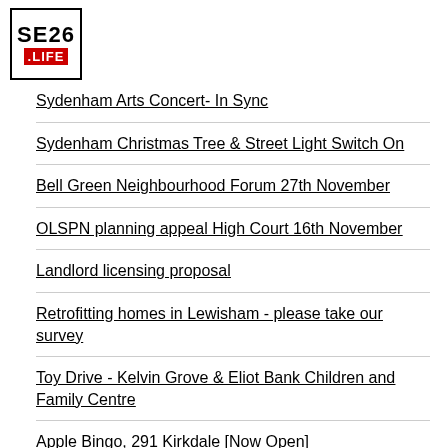[Figure (logo): SE26 .LIFE logo — black bordered box with SE26 in bold black and .LIFE on red background]
Sydenham Arts Concert- In Sync
Sydenham Christmas Tree & Street Light Switch On
Bell Green Neighbourhood Forum 27th November
OLSPN planning appeal High Court 16th November
Landlord licensing proposal
Retrofitting homes in Lewisham - please take our survey
Toy Drive - Kelvin Grove & Eliot Bank Children and Family Centre
Apple Bingo, 291 Kirkdale [Now Open]
[Complete] Forum software upgrade imminent